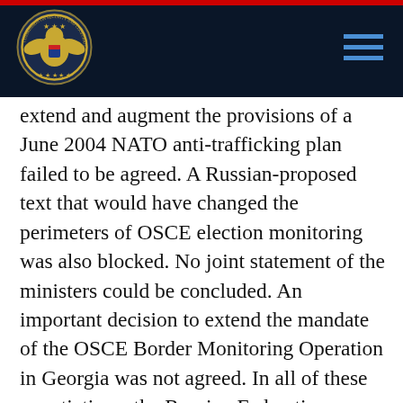Commission on Security and Cooperation in Europe
extend and augment the provisions of a June 2004 NATO anti-trafficking plan failed to be agreed. A Russian-proposed text that would have changed the perimeters of OSCE election monitoring was also blocked. No joint statement of the ministers could be concluded. An important decision to extend the mandate of the OSCE Border Monitoring Operation in Georgia was not agreed. In all of these negotiations, the Russian Federation was isolated, either in its demands, or in its refusal to join consensus. Secretary of State Powell and Russian Foreign Minister Sergei Lavrov openly disagreed in their interventions about the validity of OSCE operations in the former Soviet Union. Secretary Powell took issue with Lavrov's assertion that OSCE's focus on the region was disproportionate, pointing out that the United States